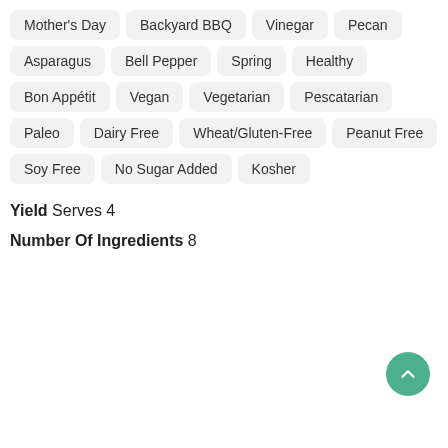Mother's Day
Backyard BBQ
Vinegar
Pecan
Asparagus
Bell Pepper
Spring
Healthy
Bon Appétit
Vegan
Vegetarian
Pescatarian
Paleo
Dairy Free
Wheat/Gluten-Free
Peanut Free
Soy Free
No Sugar Added
Kosher
Yield Serves 4
Number Of Ingredients 8